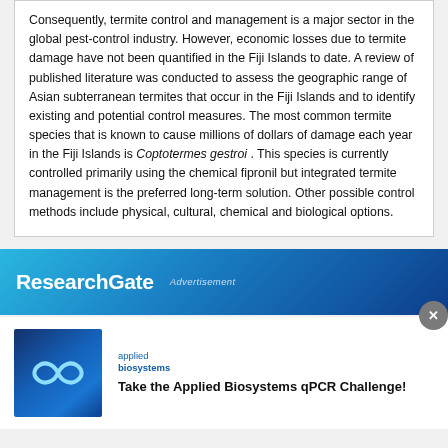Consequently, termite control and management is a major sector in the global pest-control industry. However, economic losses due to termite damage have not been quantified in the Fiji Islands to date. A review of published literature was conducted to assess the geographic range of Asian subterranean termites that occur in the Fiji Islands and to identify existing and potential control measures. The most common termite species that is known to cause millions of dollars of damage each year in the Fiji Islands is Coptotermes gestroi . This species is currently controlled primarily using the chemical fipronil but integrated termite management is the preferred long-term solution. Other possible control methods include physical, cultural, chemical and biological options.
[Figure (other): ResearchGate advertisement banner with blue gradient background showing the ResearchGate logo and 'Advertisement' label, with a close button]
[Figure (other): Applied Biosystems advertisement with infinity logo on blue background and text 'Take the Applied Biosystems qPCR Challenge!']